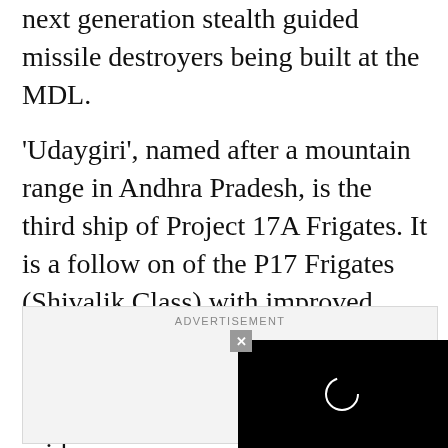next generation stealth guided missile destroyers being built at the MDL.
'Udaygiri', named after a mountain range in Andhra Pradesh, is the third ship of Project 17A Frigates. It is a follow on of the P17 Frigates (Shivalik Class) with improved stealth features, advanced weapons and sensors and platform management systems, the Navy said.
[Figure (screenshot): Advertisement box with a video overlay showing a loading spinner (white circle outline) on a black background, with a grey close (×) button in the top-left corner of the video.]